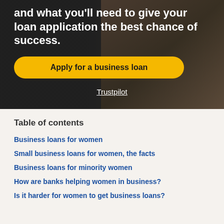and what you'll need to give your loan application the best chance of success.
Apply for a business loan
Trustpilot
Table of contents
Business loans for women
Small business loans for women, the facts
Business loans for minority women
How are banks helping women in business?
Is it harder for women to get business loans?